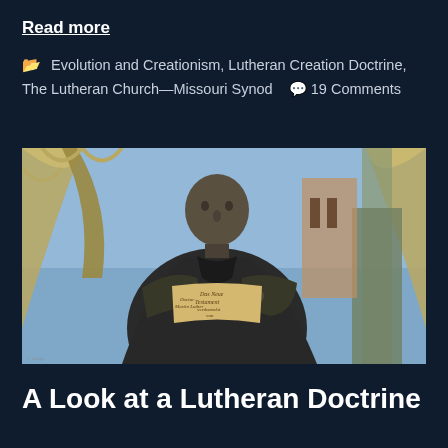Read more
Evolution and Creationism, Lutheran Creation Doctrine, The Lutheran Church—Missouri Synod   19 Comments
[Figure (photo): Bronze statue of Martin Luther holding an open book (Das Neue Testament by Martin Luther), set against Gothic architectural columns and a blue sky with a bell tower in the background.]
A Look at a Lutheran Doctrine